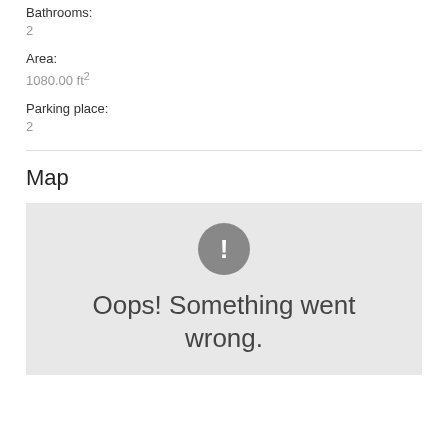Bathrooms:
2
Area:
1080.00 ft²
Parking place:
2
Map
[Figure (screenshot): Map error placeholder with grey background, exclamation mark circle icon, and text 'Oops! Something went wrong.']